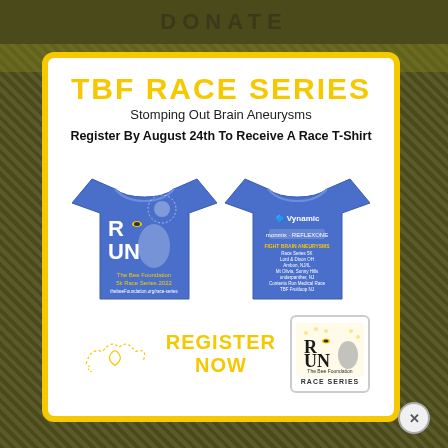DONATE
TBF RACE SERIES
Stomping Out Brain Aneurysms
Register By August 24th To Receive A Race T-Shirt
[Figure (photo): Two blue race t-shirts showing front and back. Front has RUN text with footprint and bee design, The Bee Foundation 5k Race Series 2022. Back shows Vynamic and other sponsor logos with race locations listed.]
REGISTER NOW
[Figure (logo): RUN logo with bee and footprint, The Bee Foundation RACE SERIES text below]